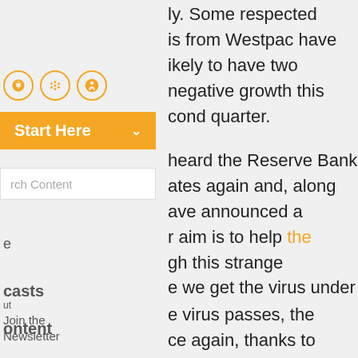[Figure (other): Podcast/audio platform icons (Spotify, Google Podcasts, Apple Podcasts) in orange circles]
[Figure (other): Orange 'Start Here' dropdown button]
[Figure (other): Search content input box with orange search icon]
e
casts
ontent
ut Join the Newsletter
ly. Some respected is from Westpac have ikely to have two negative growth this cond quarter.
heard the Reserve Bank ates again and, along ave announced a r aim is to help the gh this strange e we get the virus under
e virus passes, the ce again, thanks to ates, a low Aussie dollar, nulus measures are